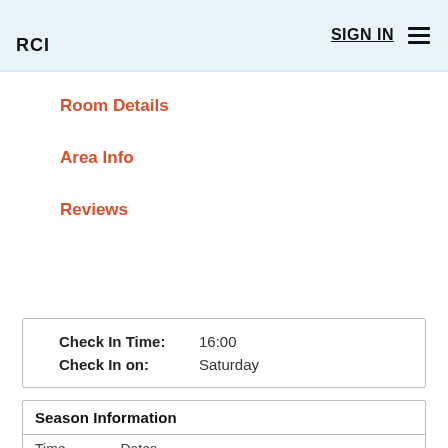RCI | SIGN IN
Room Details
Area Info
Reviews
| Check In Time: | 16:00 |
| Check In on: | Saturday |
| Season Information |  |
| --- | --- |
| Time | Dates |
| [blue swatch] | 01-Jan-2022 to 26-Feb-2022 |